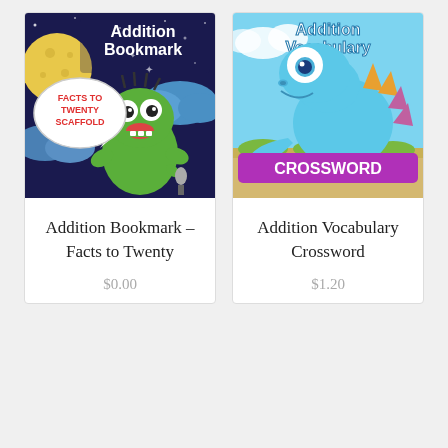[Figure (illustration): Addition Bookmark – Facts to Twenty Scaffold: cartoon green monster holding microphone on dark space background with speech bubble saying 'FACTS TO TWENTY SCAFFOLD', moon and clouds visible]
Addition Bookmark – Facts to Twenty
$0.00
[Figure (illustration): Addition Vocabulary Crossword: cartoon blue dinosaur on light blue sky background with purple 'CROSSWORD' text banner, orange spikes on back]
Addition Vocabulary Crossword
$1.20